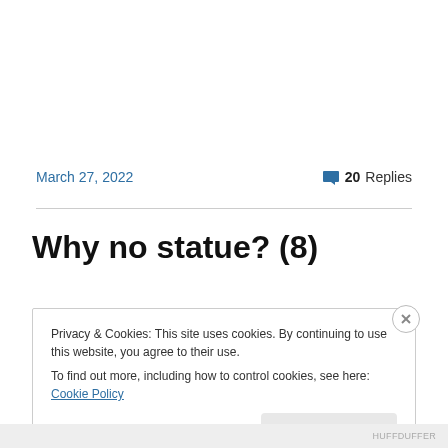March 27, 2022
20 Replies
Why no statue? (8)
Privacy & Cookies: This site uses cookies. By continuing to use this website, you agree to their use.
To find out more, including how to control cookies, see here: Cookie Policy
Close and accept
HUFFDUFFER